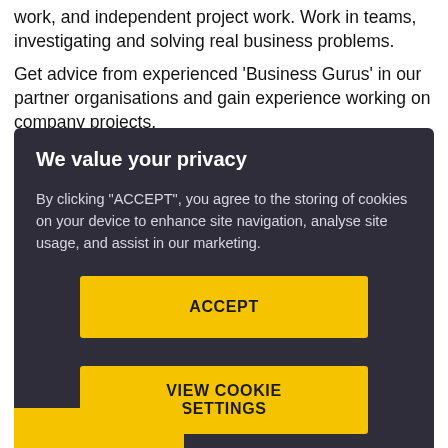work, and independent project work. Work in teams, investigating and solving real business problems.
Get advice from experienced 'Business Gurus' in our partner organisations and gain experience working on company projects.
We value your privacy
By clicking "ACCEPT", you agree to the storing of cookies on your device to enhance site navigation, analyse site usage, and assist in our marketing.
ACCEPT
VIEW COOKIE SETTINGS